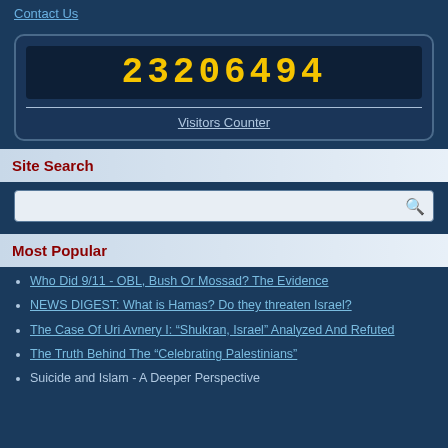Contact Us
[Figure (other): Visitors counter display showing the number 23206494 in yellow digital font on dark background, labeled 'Visitors Counter']
Site Search
[Figure (other): Search input box with magnifying glass icon]
Most Popular
Who Did 9/11 - OBL, Bush Or Mossad? The Evidence
NEWS DIGEST: What is Hamas? Do they threaten Israel?
The Case Of Uri Avnery I: “Shukran, Israel” Analyzed And Refuted
The Truth Behind The “Celebrating Palestinians”
Suicide and Islam - A Deeper Perspective